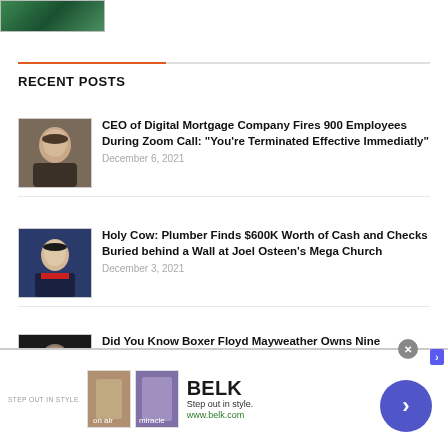[Figure (photo): Partial top image thumbnail, green background]
RECENT POSTS
CEO of Digital Mortgage Company Fires 900 Employees During Zoom Call: "You're Terminated Effective Immediatly"
December 6, 2021
Holy Cow: Plumber Finds $600K Worth of Cash and Checks Buried behind a Wall at Joel Osteen's Mega Church
December 3, 2021
Did You Know Boxer Floyd Mayweather Owns Nine Skyscrapers?
November 25, 2021
[Figure (illustration): Advertisement banner for BELK - Step out in style. www.belk.com]